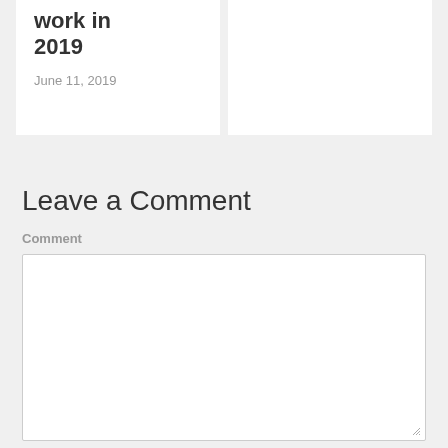work in 2019
June 11, 2019
Leave a Comment
Comment